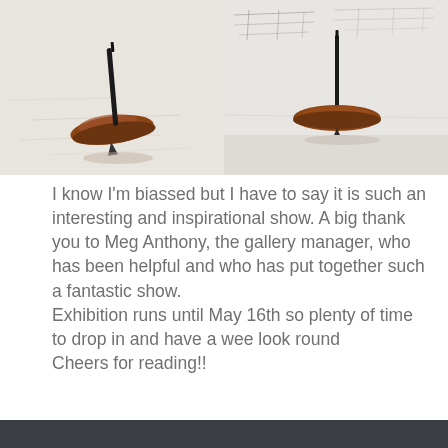[Figure (photo): Two side-by-side photos of spinning tops (dreidel-like objects) on a light surface with faint pencil sketch marks. The left photo shows a brown/copper spinning top with a black spindle, slightly tilted. The right photo shows a similar top viewed more from the side, with drawings/sketches visible on the wall in the background.]
I know I'm biassed but I have to say it is such an interesting and inspirational show. A big thank you to Meg Anthony, the gallery manager, who has been helpful and who has put together such a fantastic show.
Exhibition runs until May 16th so plenty of time to drop in and have a wee look round
Cheers for reading!!